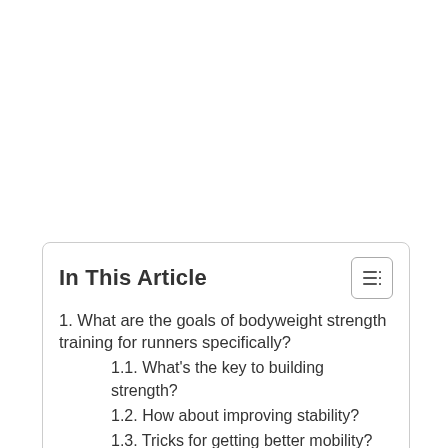In This Article
1. What are the goals of bodyweight strength training for runners specifically?
1.1. What's the key to building strength?
1.2. How about improving stability?
1.3. Tricks for getting better mobility?
1.4. Do I need to add plyometrics?
2. How much and how often?